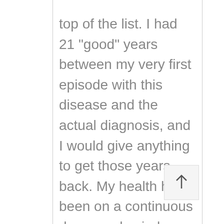top of the list. I had 21 "good" years between my very first episode with this disease and the actual diagnosis, and I would give anything to get those years back. My health has been on a continuous downward spiral since my diagnosis. I am only 38 and I'm now considered disabled.
I am committed to bringing this rare disease, Medullary Sponge Kidney to the attention of the medical community so that they can see the truth about what this disease does to patients on a daily basis. That is a totally different fight in itself, and has proved to be much harder and exhausting than I ever